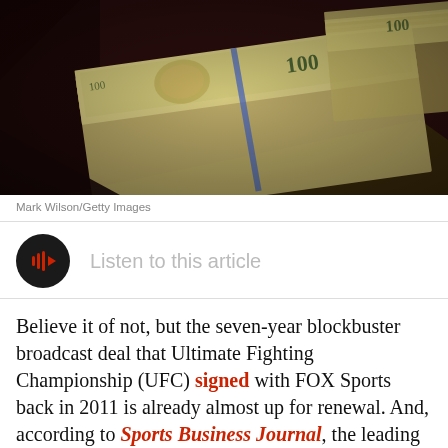[Figure (photo): Stacks of $100 US dollar bills bundled with bands, photographed from an angle against a dark red/brown background]
Mark Wilson/Getty Images
[Figure (infographic): Audio play button: black circle with red sound-wave/play icon, next to text 'Listen to this article']
Believe it of not, but the seven-year blockbuster broadcast deal that Ultimate Fighting Championship (UFC) signed with FOX Sports back in 2011 is already almost up for renewal. And, according to Sports Business Journal, the leading mixed martial arts